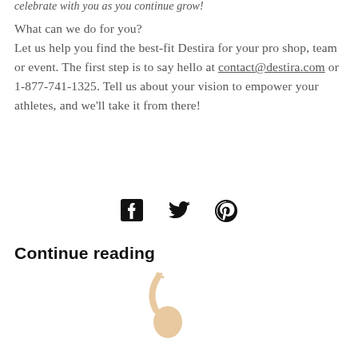celebrate with you as you continue grow!
What can we do for you? Let us help you find the best-fit Destira for your pro shop, team or event. The first step is to say hello at contact@destira.com or 1-877-741-1325. Tell us about your vision to empower your athletes, and we'll take it from there!
[Figure (infographic): Social media icons: Facebook, Twitter, Pinterest]
Continue reading
[Figure (infographic): Card with teal shopping bag icon on left, person with raised hand in center, teal italic text 'let's' at bottom left, and grey chat bubble on right]